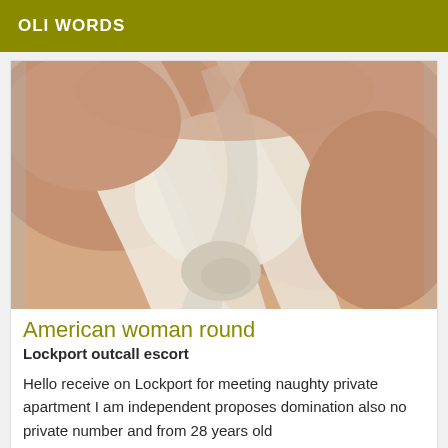OLI WORDS
[Figure (photo): Close-up photo of a person wearing a loose white fabric garment, showing skin and fabric detail.]
American woman round
Lockport outcall escort
Hello receive on Lockport for meeting naughty private apartment I am independent proposes domination also no private number and from 28 years old